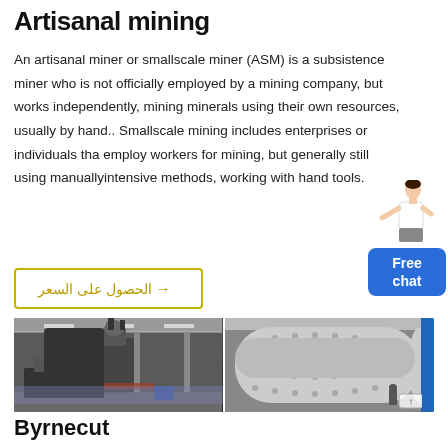Artisanal mining
An artisanal miner or smallscale miner (ASM) is a subsistence miner who is not officially employed by a mining company, but works independently, mining minerals using their own resources, usually by hand.. Smallscale mining includes enterprises or individuals that employ workers for mining, but generally still using manuallyintensive methods, working with hand tools.
[Figure (illustration): Chat widget with a person figure and a blue 'Free chat' button]
→ الحصول على السعر
[Figure (photo): Two side-by-side photos of industrial mining/milling equipment inside a large factory warehouse]
Byrnecut
Byrnecut Mining Pty Ltd was established in 1987...